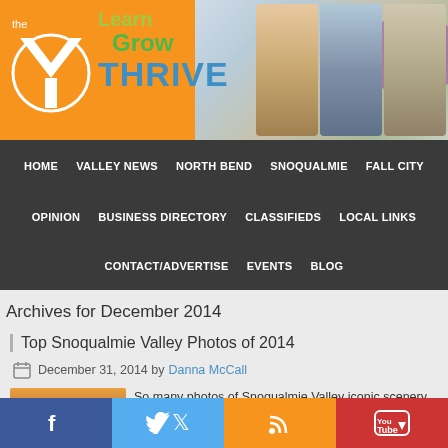[Figure (illustration): YMCA banner with 'Learn Grow THRIVE' text and photos of children]
HOME   VALLEY NEWS   NORTH BEND   SNOQUALMIE   FALL CITY
OPINION   BUSINESS DIRECTORY   CLASSIFIEDS   LOCAL LINKS
CONTACT/ADVERTISE   EVENTS   BLOG
Archives for December 2014
Top Snoqualmie Valley Photos of 2014
December 31, 2014 by Danna McCall
[Figure (photo): Mountain scenery at sunset with purple mountains and orange sky]
So many photos of Snoqualmie Valley iconic scenery are shared on the Living Snoqualmie Facebook page each month. A list of the most the popular photos of 2014 are available…
[Figure (infographic): Social media bar with Facebook, Twitter, RSS, and YouTube icons]